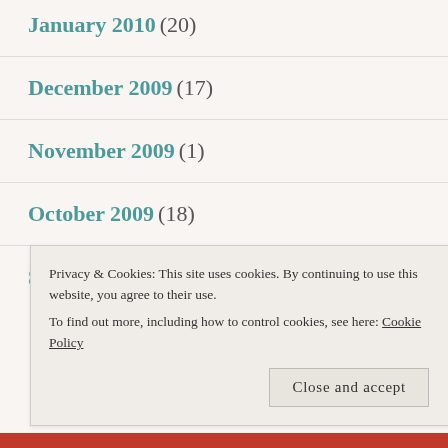January 2010 (20)
December 2009 (17)
November 2009 (1)
October 2009 (18)
September 2009 (15)
Privacy & Cookies: This site uses cookies. By continuing to use this website, you agree to their use.
To find out more, including how to control cookies, see here: Cookie Policy
[Close and accept]